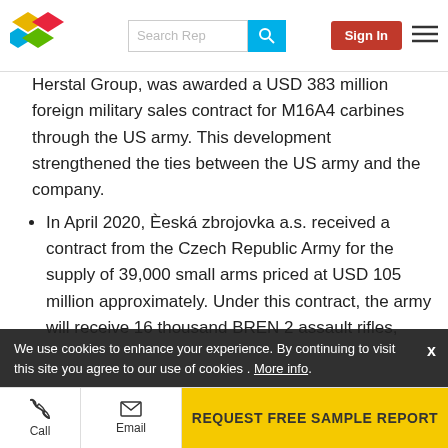Search Rep | Sign In
Herstal Group, was awarded a USD 383 million foreign military sales contract for M16A4 carbines through the US army. This development strengthened the ties between the US army and the company.
In April 2020, Èeská zbrojovka a.s. received a contract from the Czech Republic Army for the supply of 39,000 small arms priced at USD 105 million approximately. Under this contract, the army will receive 16 thousand BREN 2 assault rifles, over 21 thousand CZ P-10 pistols, over 1,600 CZ 805 G1 underslung grenade launchers, nearly 100 CZ [SCORPION EVO...]. This [strengthened the] company's long-term ties
We use cookies to enhance your experience. By continuing to visit this site you agree to our use of cookies . More info.
Call | Email | REQUEST FREE SAMPLE REPORT